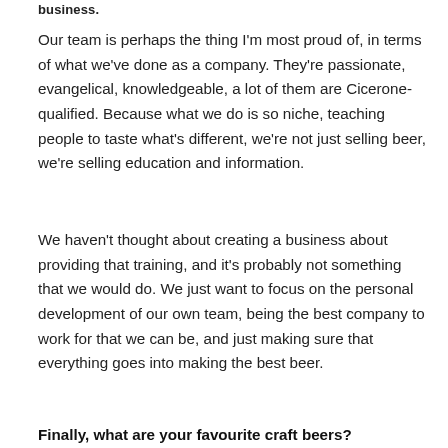business.
Our team is perhaps the thing I'm most proud of, in terms of what we've done as a company. They're passionate, evangelical, knowledgeable, a lot of them are Cicerone-qualified. Because what we do is so niche, teaching people to taste what's different, we're not just selling beer, we're selling education and information.
We haven't thought about creating a business about providing that training, and it's probably not something that we would do. We just want to focus on the personal development of our own team, being the best company to work for that we can be, and just making sure that everything goes into making the best beer.
Finally, what are your favourite craft beers?